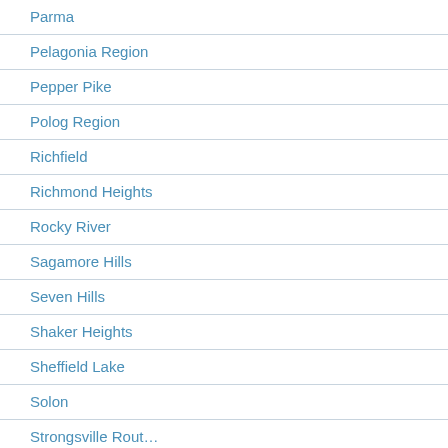Parma
Pelagonia Region
Pepper Pike
Polog Region
Richfield
Richmond Heights
Rocky River
Sagamore Hills
Seven Hills
Shaker Heights
Sheffield Lake
Solon
Strongsville Rout…